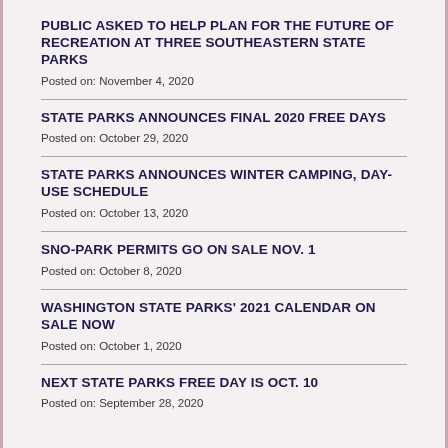PUBLIC ASKED TO HELP PLAN FOR THE FUTURE OF RECREATION AT THREE SOUTHEASTERN STATE PARKS
Posted on: November 4, 2020
STATE PARKS ANNOUNCES FINAL 2020 FREE DAYS
Posted on: October 29, 2020
STATE PARKS ANNOUNCES WINTER CAMPING, DAY-USE SCHEDULE
Posted on: October 13, 2020
SNO-PARK PERMITS GO ON SALE NOV. 1
Posted on: October 8, 2020
WASHINGTON STATE PARKS' 2021 CALENDAR ON SALE NOW
Posted on: October 1, 2020
NEXT STATE PARKS FREE DAY IS OCT. 10
Posted on: September 28, 2020